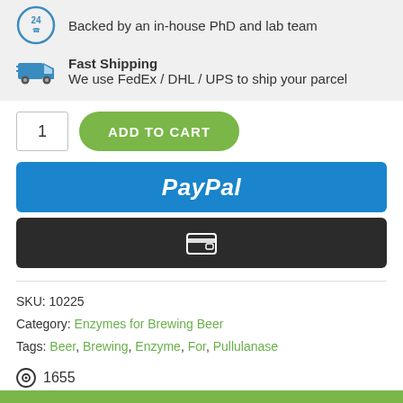[Figure (illustration): Circular badge with '24' and phone icon, representing 24-hour support]
Backed by an in-house PhD and lab team
[Figure (illustration): Fast shipping truck icon]
Fast Shipping
We use FedEx / DHL / UPS to ship your parcel
1
ADD TO CART
[Figure (illustration): PayPal payment button]
[Figure (illustration): Dark button with credit card/wallet icon]
SKU: 10225
Category: Enzymes for Brewing Beer
Tags: Beer, Brewing, Enzyme, For, Pullulanase
1655